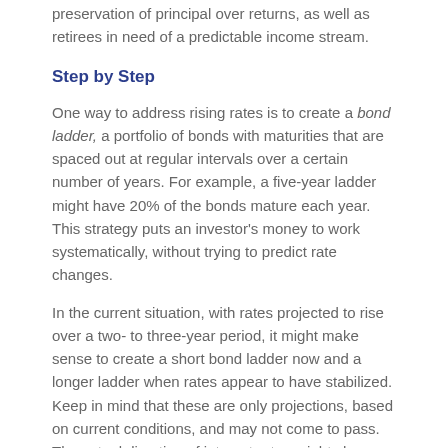preservation of principal over returns, as well as retirees in need of a predictable income stream.
Step by Step
One way to address rising rates is to create a bond ladder, a portfolio of bonds with maturities that are spaced out at regular intervals over a certain number of years. For example, a five-year ladder might have 20% of the bonds mature each year. This strategy puts an investor’s money to work systematically, without trying to predict rate changes.
In the current situation, with rates projected to rise over a two- to three-year period, it might make sense to create a short bond ladder now and a longer ladder when rates appear to have stabilized. Keep in mind that these are only projections, based on current conditions, and may not come to pass. The actual direction of interest rates might change.
Reinvesting or Taking Withdrawals